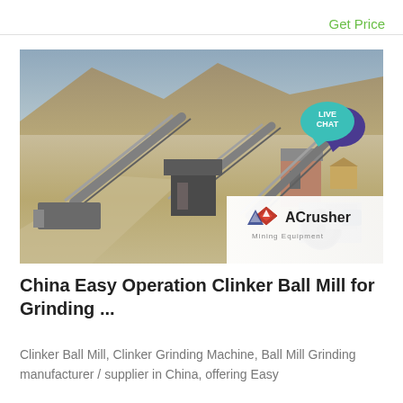Get Price
[Figure (photo): Outdoor mining/crushing plant site with multiple conveyor belt systems and industrial equipment set against a rocky hillside, with ACrusher Mining Equipment logo overlay in bottom-right corner]
China Easy Operation Clinker Ball Mill for Grinding ...
Clinker Ball Mill, Clinker Grinding Machine, Ball Mill Grinding manufacturer / supplier in China, offering Easy